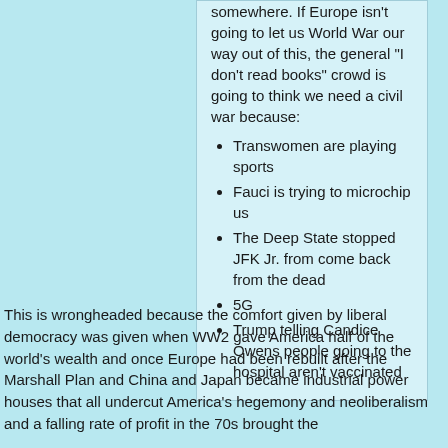somewhere. If Europe isn't going to let us World War our way out of this, the general "I don't read books" crowd is going to think we need a civil war because:
Transwomen are playing sports
Fauci is trying to microchip us
The Deep State stopped JFK Jr. from come back from the dead
5G
Trump telling Candice Owens people going to the hospital aren't vaccinated
This is wrongheaded because the comfort given by liberal democracy was given when WW2 gave America half of the world's wealth and once Europe had been rebuilt after the Marshall Plan and China and Japan became industrial power houses that all undercut America's hegemony and neoliberalism and a falling rate of profit in the 70s brought the